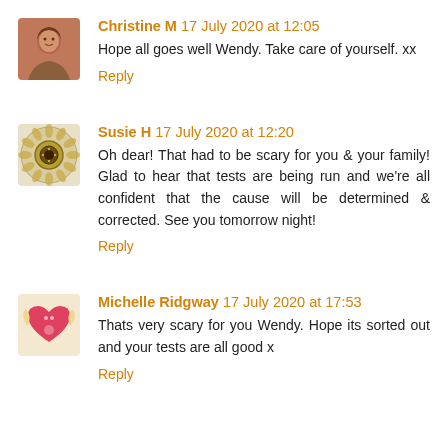[Figure (photo): Avatar photo of Christine M, a woman with brown hair]
Christine M 17 July 2020 at 12:05
Hope all goes well Wendy. Take care of yourself. xx
Reply
[Figure (illustration): Avatar icon of Susie H, a mandala/flower decorative pattern]
Susie H 17 July 2020 at 12:20
Oh dear! That had to be scary for you & your family! Glad to hear that tests are being run and we're all confident that the cause will be determined & corrected. See you tomorrow night!
Reply
[Figure (illustration): Avatar icon of Michelle Ridgway, a heart with angel wings]
Michelle Ridgway 17 July 2020 at 17:53
Thats very scary for you Wendy. Hope its sorted out and your tests are all good x
Reply